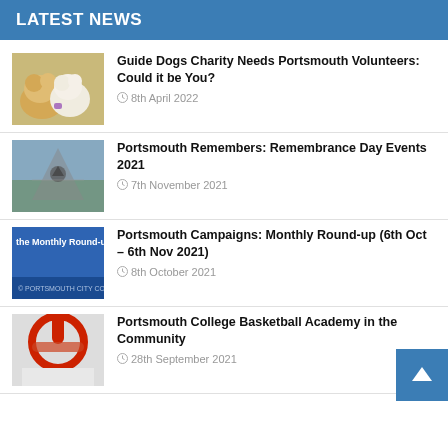LATEST NEWS
[Figure (photo): Yellow Labrador puppy with a toy]
Guide Dogs Charity Needs Portsmouth Volunteers: Could it be You?
8th April 2022
[Figure (photo): Aerial view of a memorial or outdoor area with a figure standing in the center]
Portsmouth Remembers: Remembrance Day Events 2021
7th November 2021
[Figure (photo): Blue promotional banner reading 'the Monthly Round-up']
Portsmouth Campaigns: Monthly Round-up (6th Oct – 6th Nov 2021)
8th October 2021
[Figure (photo): Basketball hoop viewed from below]
Portsmouth College Basketball Academy in the Community
28th September 2021